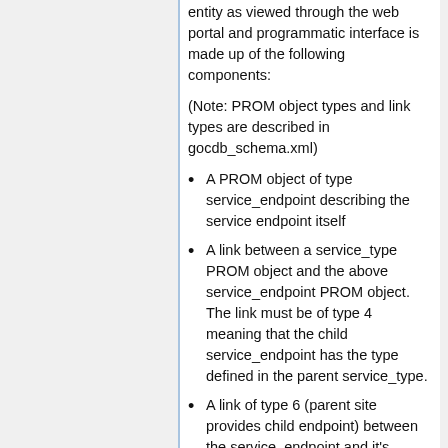entity as viewed through the web portal and programmatic interface is made up of the following components:
(Note: PROM object types and link types are described in gocdb_schema.xml)
A PROM object of type service_endpoint describing the service endpoint itself
A link between a service_type PROM object and the above service_endpoint PROM object. The link must be of type 4 meaning that the child service_endpoint has the type defined in the parent service_type.
A link of type 6 (parent site provides child endpoint) between the service_endpoint and it's hosting site
A link of type 43 (child service_endpoint has parent tag)